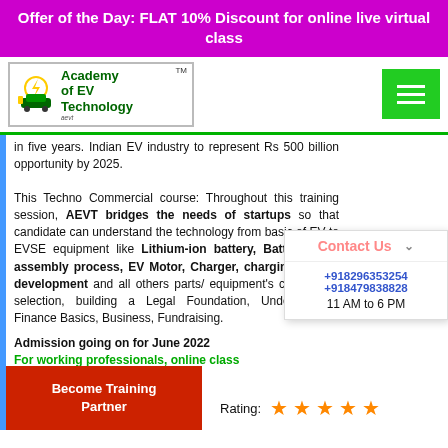Offer of the Day: FLAT 10% Discount for online live virtual class
[Figure (logo): Academy of EV Technology (AEVT) logo with TM mark and green hamburger menu button]
in five years. Indian EV industry to represent Rs 500 billion opportunity by 2025.
This Techno Commercial course: Throughout this training session, AEVT bridges the needs of startups so that candidate can understand the technology from basic of EV to EVSE equipment like Lithium-ion battery, Battery pack assembly process, EV Motor, Charger, charging station development and all others parts/ equipment's calculation, selection, building a Legal Foundation, Understanding Finance Basics, Business, Fundraising.
Admission going on for June 2022
For working professionals, online class at night 8PM to 10PM (IST)
Contact Us
+918296353254
+918479838828
11 AM to 6 PM
Become Training Partner
Rating: